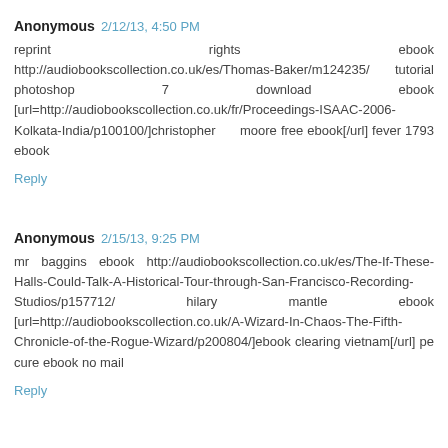Anonymous 2/12/13, 4:50 PM
reprint rights ebook http://audiobookscollection.co.uk/es/Thomas-Baker/m124235/ tutorial photoshop 7 download ebook [url=http://audiobookscollection.co.uk/fr/Proceedings-ISAAC-2006-Kolkata-India/p100100/]christopher moore free ebook[/url] fever 1793 ebook
Reply
Anonymous 2/15/13, 9:25 PM
mr baggins ebook http://audiobookscollection.co.uk/es/The-If-These-Halls-Could-Talk-A-Historical-Tour-through-San-Francisco-Recording-Studios/p157712/ hilary mantle ebook [url=http://audiobookscollection.co.uk/A-Wizard-In-Chaos-The-Fifth-Chronicle-of-the-Rogue-Wizard/p200804/]ebook clearing vietnam[/url] pe cure ebook no mail
Reply